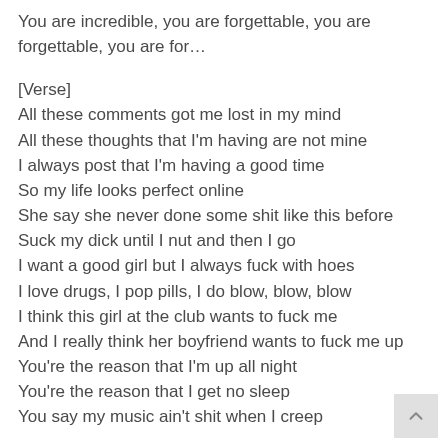You are incredible, you are forgettable, you are forgettable, you are for…
[Verse]
All these comments got me lost in my mind
All these thoughts that I'm having are not mine
I always post that I'm having a good time
So my life looks perfect online
She say she never done some shit like this before
Suck my dick until I nut and then I go
I want a good girl but I always fuck with hoes
I love drugs, I pop pills, I do blow, blow, blow
I think this girl at the club wants to fuck me
And I really think her boyfriend wants to fuck me up
You're the reason that I'm up all night
You're the reason that I get no sleep
You say my music ain't shit when I creep